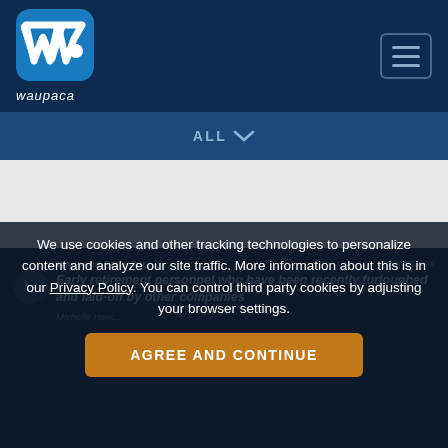[Figure (logo): Waupaca Foundry logo — blue rounded square icon with white W emblem and dot, with 'waupaca' in white italic text below]
[Figure (screenshot): Hamburger menu button with three horizontal lines in a rounded rectangle border]
ALL ∨
Waupaca Foundry
4 Reactions
Early retirement personnel who have been recently furloughed and laid-off by other companies
Michelle Haw...
We use cookies and other tracking technologies to personalize content and analyze our site traffic. More information about this is in our Privacy Policy. You can control third party cookies by adjusting your browser settings.
AGREE AND CONTINUE